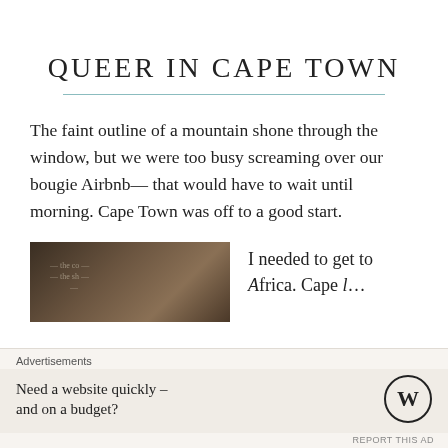QUEER IN CAPE TOWN
The faint outline of a mountain shone through the window, but we were too busy screaming over our bougie Airbnb— that would have to wait until morning. Cape Town was off to a good start.
[Figure (photo): Dark photo showing what appears to be a book or paper with a coffee cup, dimly lit]
I needed to get to Africa. Cape L…
Advertisements
Need a website quickly – and on a budget?